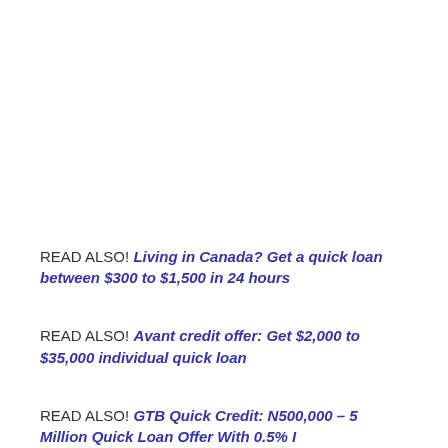READ ALSO! Living in Canada? Get a quick loan between $300 to $1,500 in 24 hours
READ ALSO! Avant credit offer: Get $2,000 to $35,000 individual quick loan
READ ALSO! GTB Quick Credit: N500,000 – 5 Million Quick Loan Offer With 0.5% Interest